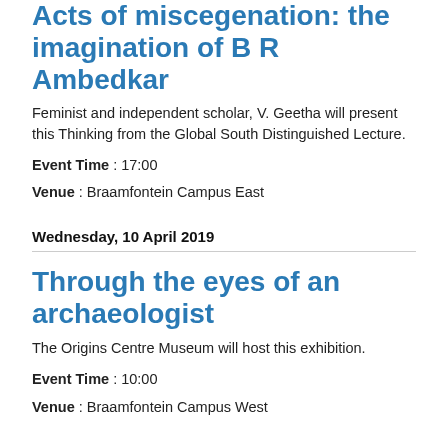Acts of miscegenation: the imagination of B R Ambedkar
Feminist and independent scholar, V. Geetha will present this Thinking from the Global South Distinguished Lecture.
Event Time : 17:00
Venue : Braamfontein Campus East
Wednesday, 10 April 2019
Through the eyes of an archaeologist
The Origins Centre Museum will host this exhibition.
Event Time : 10:00
Venue : Braamfontein Campus West